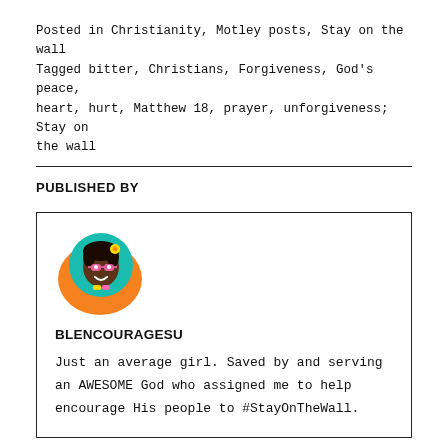Posted in Christianity, Motley posts, Stay on the wall
Tagged bitter, Christians, Forgiveness, God's peace, heart, hurt, Matthew 18, prayer, unforgiveness; Stay on the wall
PUBLISHED BY
[Figure (illustration): Avatar/emoji illustration of a dark-skinned woman with pink glasses, colorful accessories, on an orange speech bubble background with teal circle]
BLENCOURAGESU
Just an average girl. Saved by and serving an AWESOME God who assigned me to help encourage His people to #StayOnTheWall.